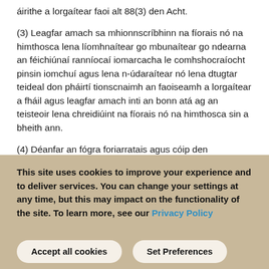áirithe a lorgaítear faoi alt 88(3) den Acht.
(3) Leagfar amach sa mhionnscríbhinn na fíorais nó na himthosca lena líomhnaítear go mbunaítear go ndearna an féichiúnaí ranníocaí iomarcacha le comhshocraíocht pinsin iomchuí agus lena n-údaraítear nó lena dtugtar teideal don pháirtí tionscnaimh an faoiseamh a lorgaítear a fháil agus leagfar amach inti an bonn atá ag an teisteoir lena chreidiúint na fíorais nó na himthosca sin a bheith ann.
(4) Déanfar an fógra foriarratais agus cóip den mhionnscríbhinn forais a sheirbheáil ar an
This site uses cookies to improve your experience and to deliver services. You can change your settings at any time, but this may impact on the functionality of the site. To learn more, see our Privacy Policy